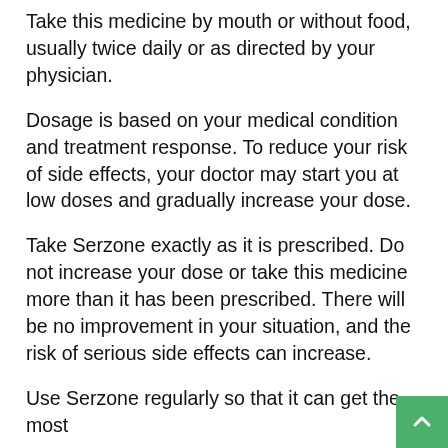Take this medicine by mouth or without food, usually twice daily or as directed by your physician.
Dosage is based on your medical condition and treatment response. To reduce your risk of side effects, your doctor may start you at low doses and gradually increase your dose.
Take Serzone exactly as it is prescribed. Do not increase your dose or take this medicine more than it has been prescribed. There will be no improvement in your situation, and the risk of serious side effects can increase.
Use Serzone regularly so that it can get the most